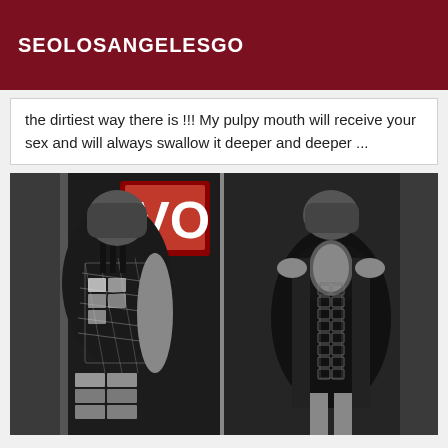SEOLOSANGELESGO
the dirtiest way there is !!! My pulpy mouth will receive your sex and will always swallow it deeper and deeper ...
[Figure (photo): Black and white photo showing two views of a person wearing fishnet and black clothing]